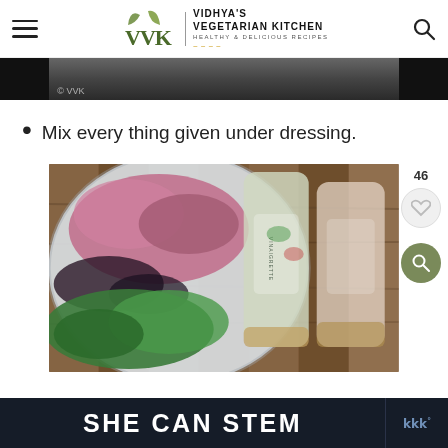Vidhya's Vegetarian Kitchen — Healthy & Delicious Recipes
[Figure (photo): Partial photo of food in a dark bowl, watermark © VVK visible]
Mix every thing given under dressing.
[Figure (photo): Photo of a salad bowl with red onions, black beans, and broccoli next to two bottles of dressing on a wooden cutting board]
SHE CAN STEM
SHE CAN STEM — advertisement banner